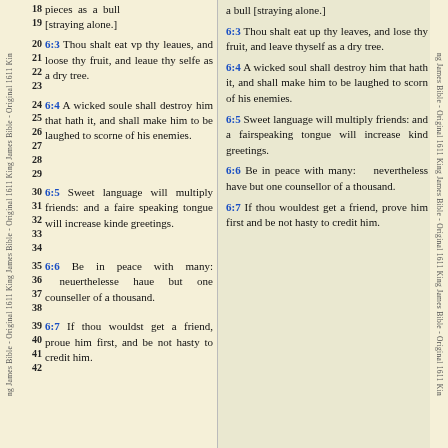18 pieces as a bull [straying alone.] 19
a bull [straying alone.]
20 6:3 Thou shalt eat vp thy leaues, and loose thy fruit, and leaue thy selfe as a dry tree. 21 22 23
6:3 Thou shalt eat up thy leaves, and lose thy fruit, and leave thyself as a dry tree.
24 6:4 A wicked soule shall destroy him that hath it, and shall make him to be laughed to scorne of his enemies. 25 26 27 28 29
6:4 A wicked soul shall destroy him that hath it, and shall make him to be laughed to scorn of his enemies.
30 6:5 Sweet language will multiply friends: and a faire speaking tongue will increase kinde greetings. 31 32 33 34
6:5 Sweet language will multiply friends: and a fairspeaking tongue will increase kind greetings.
35 6:6 Be in peace with many: neuerthelesse haue but one counseller of a thousand. 36 37 38
6:6 Be in peace with many: nevertheless have but one counsellor of a thousand.
39 6:7 If thou wouldst get a friend, proue him first, and be not hasty to credit him. 40 41 42
6:7 If thou wouldest get a friend, prove him first and be not hasty to credit him.